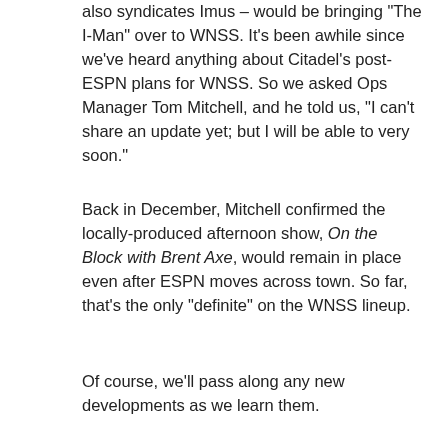also syndicates Imus – would be bringing "The I-Man" over to WNSS.  It's been awhile since we've heard anything about Citadel's post-ESPN plans for WNSS.  So we asked Ops Manager Tom Mitchell, and he told us, "I can't share an update yet; but I will be able to very soon."
Back in December, Mitchell confirmed the locally-produced afternoon show, On the Block with Brent Axe, would remain in place even after ESPN moves across town.  So far, that's the only "definite" on the WNSS lineup.
Of course, we'll pass along any new developments as we learn them.
Share this: